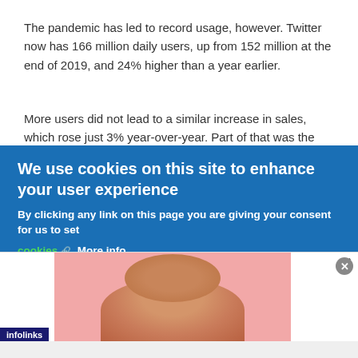The pandemic has led to record usage, however. Twitter now has 166 million daily users, up from 152 million at the end of 2019, and 24% higher than a year earlier.
More users did not lead to a similar increase in sales, which rose just 3% year-over-year. Part of that was the result of an industrywide ad slump as marketers pull back on spending.
We use cookies on this site to enhance your user experience
By clicking any link on this page you are giving your consent for us to set cookies. More info
[Figure (screenshot): Cookie consent banner overlay on a webpage with an infolinks advertisement below showing a partial image of a person's face on a pink background.]